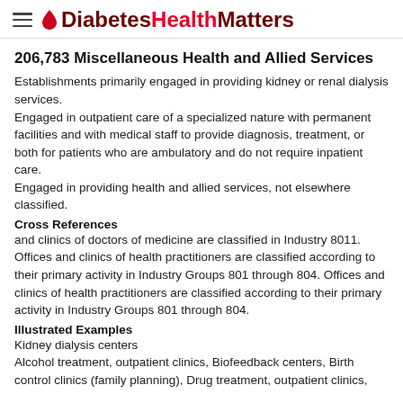DiabetesHealthMatters
206,783 Miscellaneous Health and Allied Services
Establishments primarily engaged in providing kidney or renal dialysis services.
Engaged in outpatient care of a specialized nature with permanent facilities and with medical staff to provide diagnosis, treatment, or both for patients who are ambulatory and do not require inpatient care.
Engaged in providing health and allied services, not elsewhere classified.
Cross References
and clinics of doctors of medicine are classified in Industry 8011. Offices and clinics of health practitioners are classified according to their primary activity in Industry Groups 801 through 804. Offices and clinics of health practitioners are classified according to their primary activity in Industry Groups 801 through 804.
Illustrated Examples
Kidney dialysis centers
Alcohol treatment, outpatient clinics, Biofeedback centers, Birth control clinics (family planning), Drug treatment, outpatient clinics,